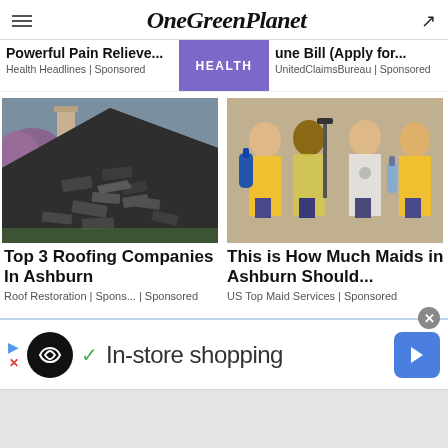OneGreenPlanet
Powerful Pain Relieve... | Health Headlines | Sponsored    HEALTH    une Bill (Apply for... | UnitedClaimsBureau | Sponsored
[Figure (photo): Damaged roof with broken and curling shingles, trees in background]
Top 3 Roofing Companies In Ashburn
Roof Restoration | Spons... | Sponsored
[Figure (photo): Four women in yellow shirts holding cleaning equipment, smiling]
This is How Much Maids in Ashburn Should...
US Top Maid Services | Sponsored
[Figure (screenshot): Advertisement banner: In-store shopping, with logo circle, checkmark, play/stop controls and navigation arrow button]